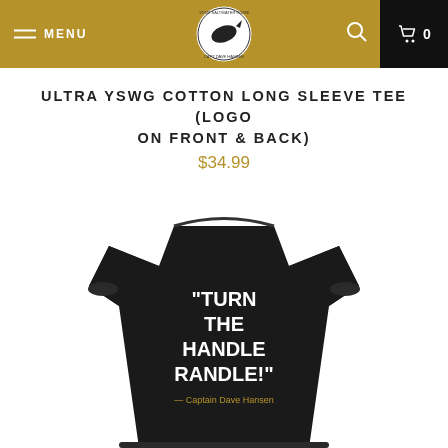MENU | [Logo] | [Search] | 0
ULTRA YSWG COTTON LONG SLEEVE TEE (LOGO ON FRONT & BACK)
$34.99
[Figure (photo): Black long sleeve sweatshirt showing the back with text "TURN THE HANDLE RANDLE!" in large white bold letters and below in gold/tan smaller text "— Captain Dave Hansen"]